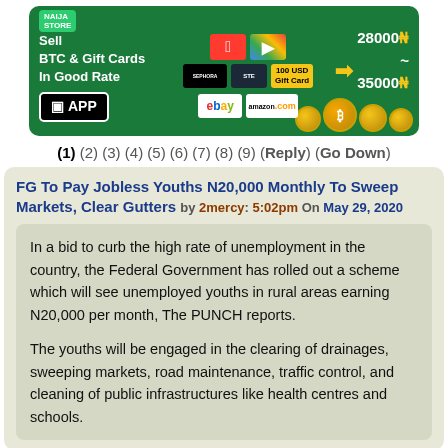[Figure (infographic): Advertisement banner for BTC & Gift Cards selling service. Green background with gift card logos (Apple, Google Play, Sephora, Steam, eBay, Amazon), arrow pointing to price range 28000₦ to 35000₦, Bitcoin coins, and APP button.]
(1) (2) (3) (4) (5) (6) (7) (8) (9) (Reply) (Go Down)
FG To Pay Jobless Youths N20,000 Monthly To Sweep Markets, Clear Gutters by 2mercy: 5:02pm On May 29, 2020
In a bid to curb the high rate of unemployment in the country, the Federal Government has rolled out a scheme which will see unemployed youths in rural areas earning N20,000 per month, The PUNCH reports.
The youths will be engaged in the clearing of drainages, sweeping markets, road maintenance, traffic control, and cleaning of public infrastructures like health centres and schools.